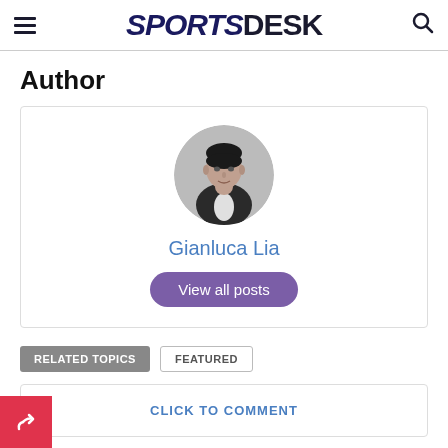SPORTSDESK
Author
[Figure (photo): Circular avatar photo of Gianluca Lia, a man in a dark jacket, black and white photo]
Gianluca Lia
View all posts
RELATED TOPICS
FEATURED
CLICK TO COMMENT